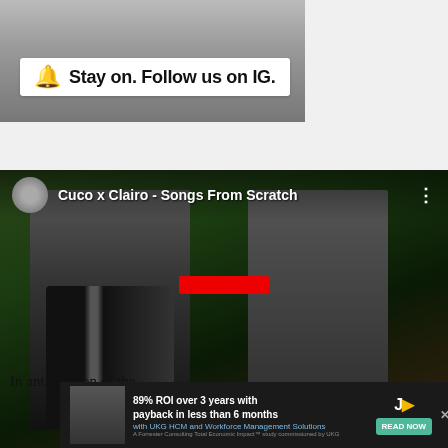[Figure (screenshot): Top banner showing partial photo of a person with a white overlay bar reading 'Stay on. Follow us on IG.' with a bell/notification emoji icon in yellow]
[Figure (screenshot): Embedded video player showing 'Cuco x Clairo - Songs From Scratch' with two people in the frame, a red play progress bar, and overlapping 'Top Articles' panel showing 'NOFX will disband in 2023' article with photo of band members. Controls show pause and mute icons. Arrow navigation button visible.]
In anticipation of the
[Figure (screenshot): Advertisement banner at bottom: '89% ROI over 3 years with payback in less than 6 months with UKG HCM and Workforce Management Solutions' - A Forrester Consulting Total Economic Impact study commissioned by UKG. READ NOW button in teal.]